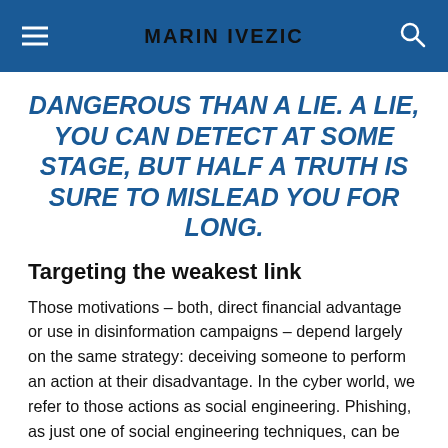MARIN IVEZIC
DANGEROUS THAN A LIE. A LIE, YOU CAN DETECT AT SOME STAGE, BUT HALF A TRUTH IS SURE TO MISLEAD YOU FOR LONG.
Targeting the weakest link
Those motivations – both, direct financial advantage or use in disinformation campaigns – depend largely on the same strategy: deceiving someone to perform an action at their disadvantage. In the cyber world, we refer to those actions as social engineering. Phishing, as just one of social engineering techniques, can be linked to 91 percent of cyberattacks that resulted in a data breach according to a